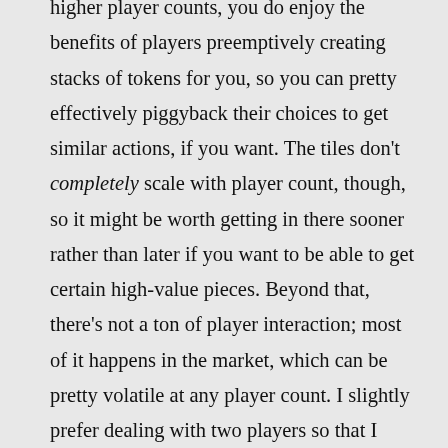higher player counts, you do enjoy the benefits of players preemptively creating stacks of tokens for you, so you can pretty effectively piggyback their choices to get similar actions, if you want. The tiles don't completely scale with player count, though, so it might be worth getting in there sooner rather than later if you want to be able to get certain high-value pieces. Beyond that, there's not a ton of player interaction; most of it happens in the market, which can be pretty volatile at any player count. I slightly prefer dealing with two players so that I have a better shot at getting what I want, and slightly prefer higher player counts so that there are more players helping build up my future successes. To that end, I wouldn't say that I prefer Founders at any particular player count; there are good things about all of them!